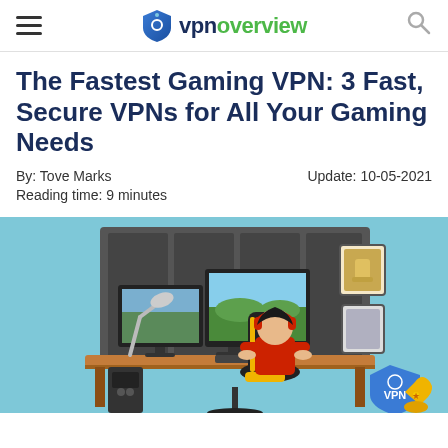vpnoverview
The Fastest Gaming VPN: 3 Fast, Secure VPNs for All Your Gaming Needs
By: Tove Marks
Update: 10-05-2021
Reading time: 9 minutes
[Figure (illustration): Illustration of a gamer sitting at a desk with multiple monitors, wearing red headphones, in a gaming chair. A VPN shield logo and trophy are shown in the bottom right corner. Light blue background.]